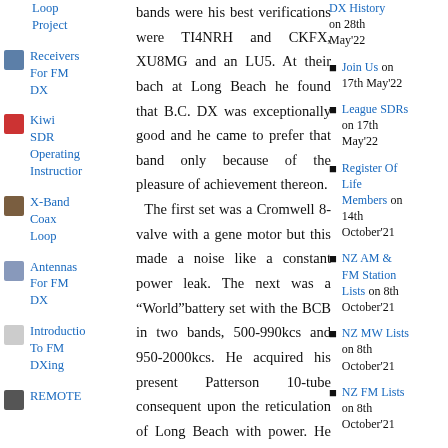Loop Project
Receivers For FM DX
Kiwi SDR Operating Instructions
X-Band Coax Loop
Antennas For FM DX
Introduction To FM DXing
REMOTE
bands were his best verifications were TI4NRH and CKFX, XU8MG and an LU5. At their bach at Long Beach he found that B.C. DX was exceptionally good and he came to prefer that band only because of the pleasure of achievement thereon. The first set was a Cromwell 8-valve with a gene motor but this made a noise like a constant power leak. The next was a “World”battery set with the BCB in two bands, 500-990kcs and 950-2000kcs. He acquired his present Patterson 10-tube consequent upon the reticulation of Long Beach with power. He has a pre-selector and has recently added a tape recorder to his equipment. He was overseas in the
DX History on 28th May'22
Join Us on 17th May'22
League SDRs on 17th May'22
Register Of Life Members on 14th October'21
NZ AM & FM Station Lists on 8th October'21
NZ MW Lists on 8th October'21
NZ FM Lists on 8th October'21